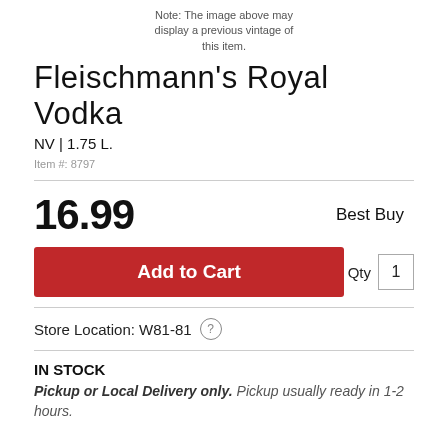Note: The image above may display a previous vintage of this item.
Fleischmann's Royal Vodka
NV | 1.75 L.
Item #: 8797
16.99
Best Buy
Add to Cart
Qty 1
Store Location: W81-81
IN STOCK
Pickup or Local Delivery only. Pickup usually ready in 1-2 hours.